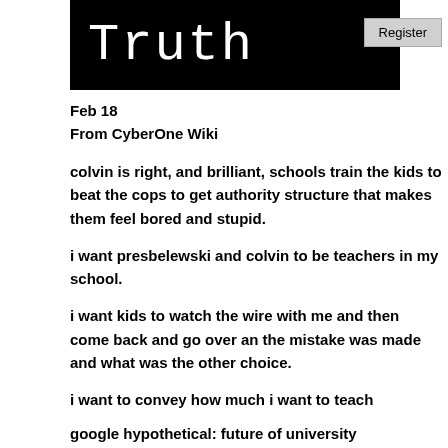[Figure (other): Black banner image with white handwritten-style text reading 'Truth']
Register
Feb 18
From CyberOne Wiki
colvin is right, and brilliant, schools train the kids to beat the cops to get authority structure that makes them feel bored and stupid.
i want presbelewski and colvin to be teachers in my school.
i want kids to watch the wire with me and then come back and go over an the mistake was made and what was the other choice.
i want to convey how much i want to teach
google hypothetical: future of university
mission of university
position of the assn of internet university service providers
bye bye to copyright on transactional base